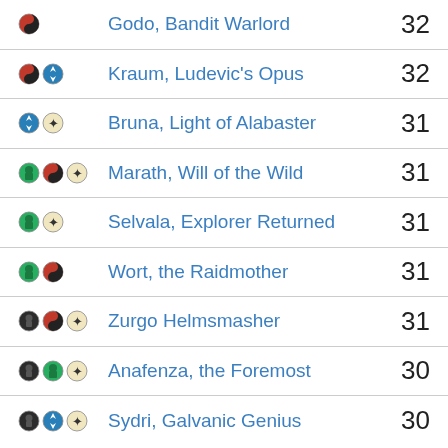Godo, Bandit Warlord 32
Kraum, Ludevic's Opus 32
Bruna, Light of Alabaster 31
Marath, Will of the Wild 31
Selvala, Explorer Returned 31
Wort, the Raidmother 31
Zurgo Helmsmasher 31
Anafenza, the Foremost 30
Sydri, Galvanic Genius 30